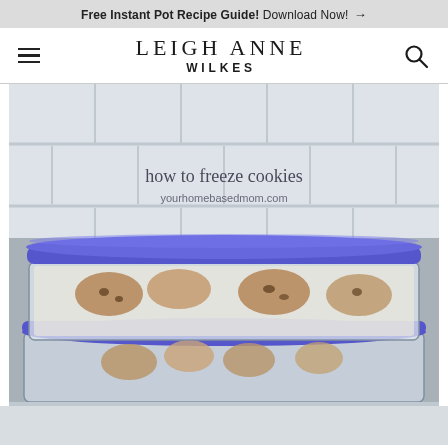Free Instant Pot Recipe Guide! Download Now! →
LEIGH ANNE WILKES
[Figure (photo): Two stacked clear plastic containers with blue lids containing cookies stored with parchment paper, on a white tile background. Text overlay reads 'how to freeze cookies' and 'yourhomebasedmom.com']